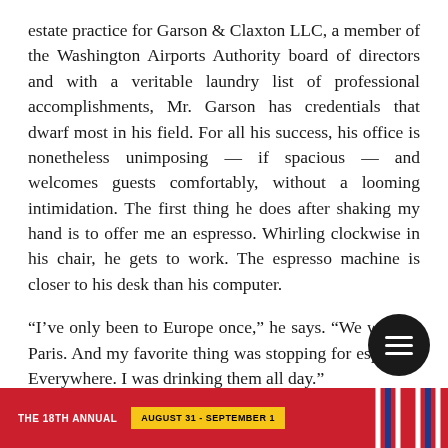estate practice for Garson & Claxton LLC, a member of the Washington Airports Authority board of directors and with a veritable laundry list of professional accomplishments, Mr. Garson has credentials that dwarf most in his field. For all his success, his office is nonetheless unimposing — if spacious — and welcomes guests comfortably, without a looming intimidation. The first thing he does after shaking my hand is to offer me an espresso. Whirling clockwise in his chair, he gets to work. The espresso machine is closer to his desk than his computer.
“I’ve only been to Europe once,” he says. “We went to Paris. And my favorite thing was stopping for espresso. Everywhere. I was drinking them all day.”
THE 18TH ANNUAL · AUGUST 31 - SEPTEMBER 1